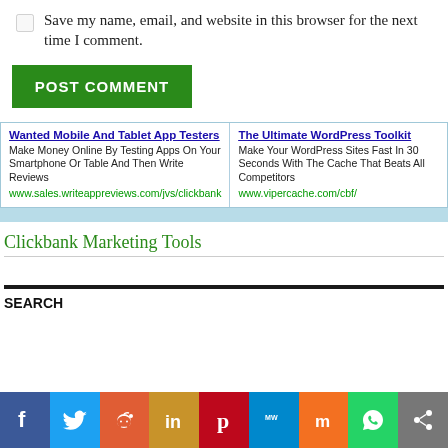Save my name, email, and website in this browser for the next time I comment.
POST COMMENT
[Figure (other): Two advertisement blocks: 'Wanted Mobile And Tablet App Testers' with URL www.sales.writeappreviews.com/jvs/clickbank and 'The Ultimate WordPress Toolkit' with URL www.vipercache.com/cbf/]
Clickbank Marketing Tools
SEARCH
[Figure (infographic): Social sharing bar with icons: Facebook, Twitter, Reddit, LinkedIn, Pinterest, MeWe, Mix, WhatsApp, Share]